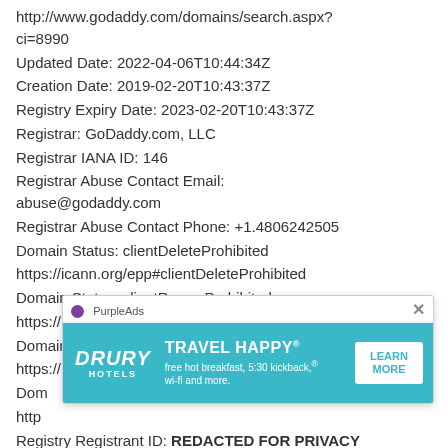http://www.godaddy.com/domains/search.aspx?ci=8990
Updated Date: 2022-04-06T10:44:34Z
Creation Date: 2019-02-20T10:43:37Z
Registry Expiry Date: 2023-02-20T10:43:37Z
Registrar: GoDaddy.com, LLC
Registrar IANA ID: 146
Registrar Abuse Contact Email: abuse@godaddy.com
Registrar Abuse Contact Phone: +1.4806242505
Domain Status: clientDeleteProhibited
https://icann.org/epp#clientDeleteProhibited
Domain Status: clientRenewProhibited
https://icann.org/epp#clientRenewProhibited
Domain Status: clientTransferProhibited
https://icann.org/epp#clientTransferProhibited
Domain Status: ...
http://...
Registry Registrant ID: REDACTED FOR PRIVACY
[Figure (other): PurpleAds advertisement banner for Drury Hotels: 'TRAVEL HAPPY - free hot breakfast, 5:30 kickback, wi-fi and more.' with a LEARN MORE button and a close (X) button.]